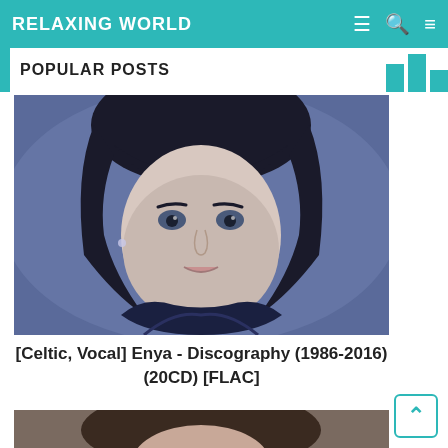RELAXING WORLD
POPULAR POSTS
[Figure (photo): Portrait photo of Enya, a woman with dark short hair and bangs, blue-toned photo]
[Celtic, Vocal] Enya - Discography (1986-2016) (20CD) [FLAC]
[Figure (photo): Partial portrait photo of another person, cropped at bottom of page]